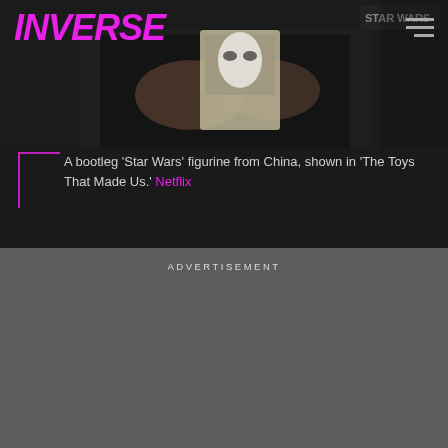INVERSE
[Figure (photo): A person in a black t-shirt holding a bootleg Star Wars Stormtrooper figurine in packaging, shown in dim lighting. A Star Wars logo is partially visible in the top right background.]
A bootleg 'Star Wars' figurine from China, shown in 'The Toys That Made Us.' Netflix
ADVERTISEMENT